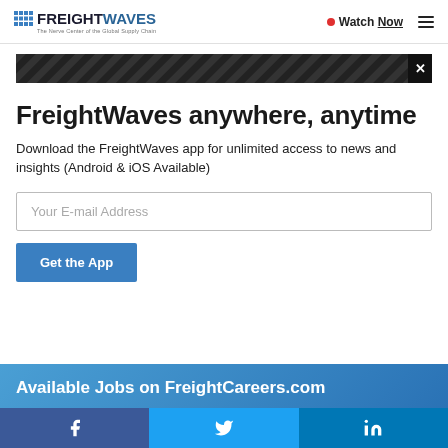FREIGHTWAVES – The Nerve Center of the Global Supply Chain | Watch Now ☰
[Figure (screenshot): Ad banner with diagonal stripes on black background and close button X]
FreightWaves anywhere, anytime
Download the FreightWaves app for unlimited access to news and insights (Android & iOS Available)
Your E-mail Address
Get the App
Available Jobs on FreightCareers.com
[Figure (infographic): Social sharing bar with Facebook, Twitter, and LinkedIn icons]